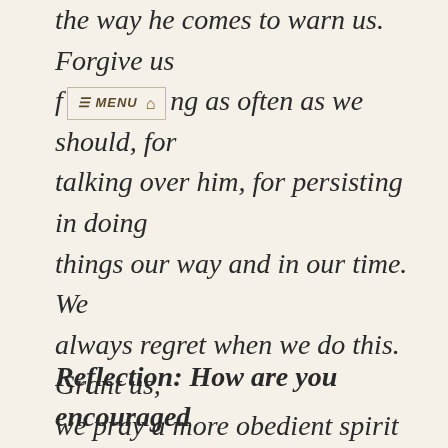the way he comes to warn us. Forgive us f… ng as often as we should, for talking over him, for persisting in doing things our way and in our time. We always regret when we do this. Grant us, we pray a more obedient spirit and attitude. We may not be able to live this life perfectly, get by without any mishaps or mistakes,  but with your Holy Spirit guiding and warning us we can come mighty close! In Jesus' name we pray. Amen -
Reflection: How are you encouraged